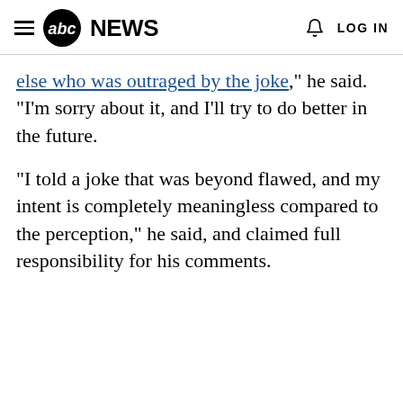abc NEWS  LOG IN
else who was outraged by the joke," he said. "I'm sorry about it, and I'll try to do better in the future.
"I told a joke that was beyond flawed, and my intent is completely meaningless compared to the perception," he said, and claimed full responsibility for his comments.